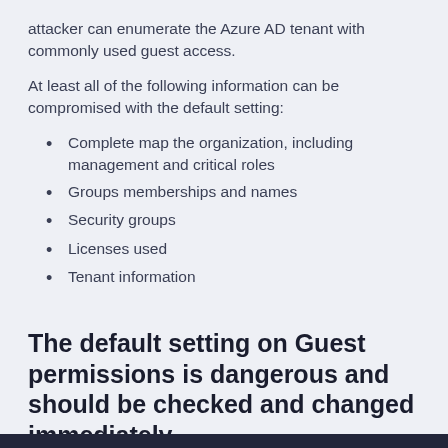attacker can enumerate the Azure AD tenant with commonly used guest access.
At least all of the following information can be compromised with the default setting:
Complete map the organization, including management and critical roles
Groups memberships and names
Security groups
Licenses used
Tenant information
The default setting on Guest permissions is dangerous and should be checked and changed immediately